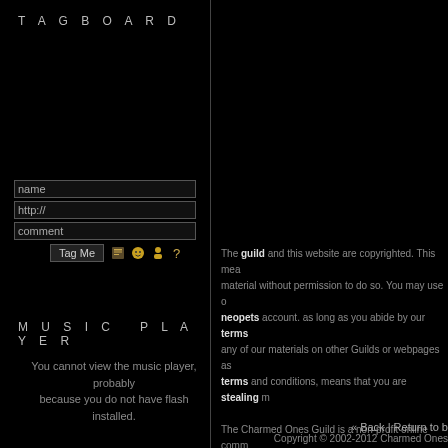T A G B O A R D
name
http://
comment
Tag Me [emoji icons]
M U S I C   P L A Y E R
You cannot view the music player, probably because you do not have flash installed.
Buy music: US | UK
The guild and this website are copyrighted. This means material without permission to do so. You may use our neopets account. as long as you abide by our terms any of our materials on other Guilds or webpages as terms and conditions, means that you are stealing m

The Charmed Ones Guild is a non-profit online comm is in no way affiliated with Spelling Television, the W the Charmed Cast and Crew. Photos and other un-o respective owners. No copyright infringement intende

Let the power of three set you free. - The Guild.
« Back | Return to b
Copyright © 2002-2012 Charmed Ones